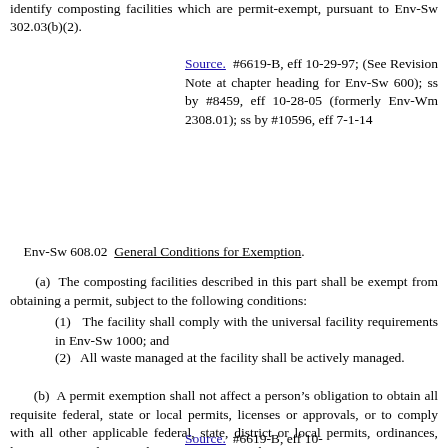identify composting facilities which are permit-exempt, pursuant to Env-Sw 302.03(b)(2).
Source. #6619-B, eff 10-29-97; (See Revision Note at chapter heading for Env-Sw 600); ss by #8459, eff 10-28-05 (formerly Env-Wm 2308.01); ss by #10596, eff 7-1-14
Env-Sw 608.02  General Conditions for Exemption.
(a)  The composting facilities described in this part shall be exempt from obtaining a permit, subject to the following conditions:
(1)   The facility shall comply with the universal facility requirements in Env-Sw 1000; and
(2)   All waste managed at the facility shall be actively managed.
(b)  A permit exemption shall not affect a person’s obligation to obtain all requisite federal, state or local permits, licenses or approvals, or to comply with all other applicable federal, state, district or local permits, ordinances, laws or approvals or conditions pertaining to the permit-exempt activities.
Source.  #6619-B, eff 10-